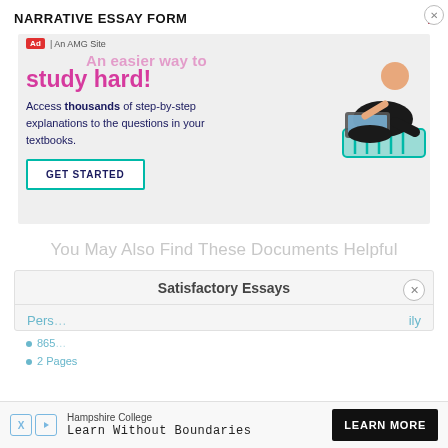NARRATIVE ESSAY FORM
[Figure (screenshot): Advertisement banner for a study help website. Shows text 'An easier way to study hard!' in pink/magenta, 'Access thousands of step-by-step explanations to the questions in your textbooks.' with a GET STARTED button and an illustration of a person studying on a laptop.]
You May Also Find These Documents Helpful
Satisfactory Essays
[Figure (screenshot): Advertisement overlay for Hampshire College: 'Learn Without Boundaries' with a LEARN MORE button in black.]
Pers… ily
865…
2 Pages